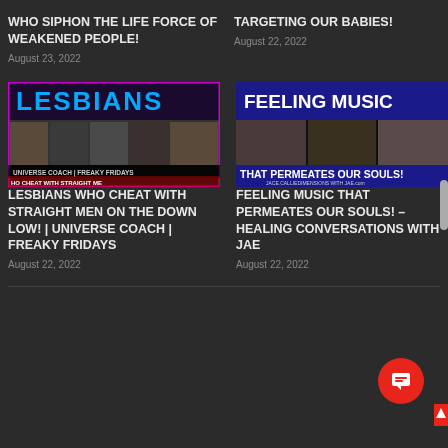WHO SIPHON THE LIFE FORCE OF WEAKENED PEOPLE!
August 23, 2022
TARGETING OUR BABIES!
August 22, 2022
[Figure (photo): Thumbnail image for Lesbians Who Cheat With Straight Men post showing multiple people with purple border and text]
[Figure (photo): Thumbnail image for Feeling Music That Permeates Our Souls post showing multiple women with blue/white header]
LESBIANS WHO CHEAT WITH STRAIGHT MEN ON THE DOWN LOW! | UNIVERSE COACH | FREAKY FRIDAYS
August 22, 2022
FEELING MUSIC THAT PERMEATES OUR SOULS! – HEALING CONVERSATIONS WITH JAE
August 22, 2022